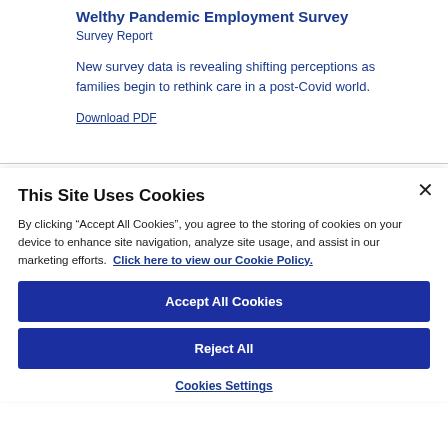Welthy Pandemic Employment Survey
Survey Report
New survey data is revealing shifting perceptions as families begin to rethink care in a post-Covid world.
Download PDF
This Site Uses Cookies
By clicking “Accept All Cookies”, you agree to the storing of cookies on your device to enhance site navigation, analyze site usage, and assist in our marketing efforts. Click here to view our Cookie Policy.
Accept All Cookies
Reject All
Cookies Settings